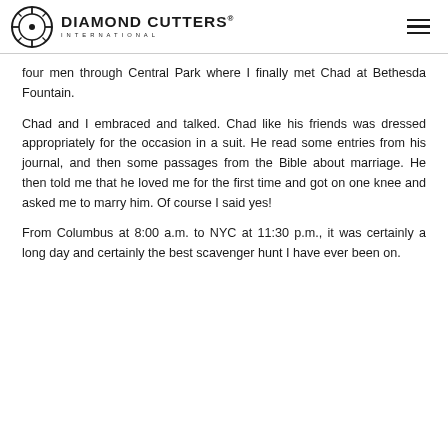Diamond Cutters International
four men through Central Park where I finally met Chad at Bethesda Fountain.
Chad and I embraced and talked. Chad like his friends was dressed appropriately for the occasion in a suit. He read some entries from his journal, and then some passages from the Bible about marriage. He then told me that he loved me for the first time and got on one knee and asked me to marry him. Of course I said yes!
From Columbus at 8:00 a.m. to NYC at 11:30 p.m., it was certainly a long day and certainly the best scavenger hunt I have ever been on.